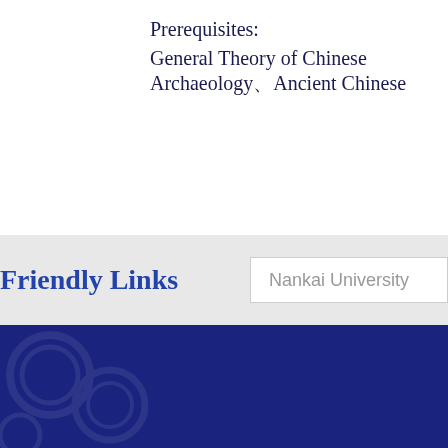Prerequisites:
General Theory of Chinese Archaeology、Ancient Chinese
Friendly Links
Nankai University
HOME  SUPPORT  SITEMAP  DISCLAIMER  ADD  Jinna  ZIP：  TEL：  Ema  Copyright © 2002-20